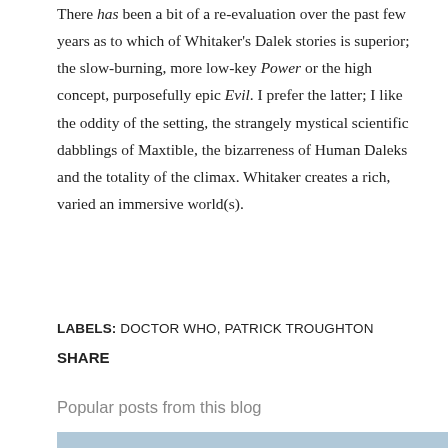There has been a bit of a re-evaluation over the past few years as to which of Whitaker's Dalek stories is superior; the slow-burning, more low-key Power or the high concept, purposefully epic Evil. I prefer the latter; I like the oddity of the setting, the strangely mystical scientific dabblings of Maxtible, the bizarreness of Human Daleks and the totality of the climax. Whitaker creates a rich, varied an immersive world(s).
LABELS: DOCTOR WHO, PATRICK TROUGHTON
SHARE
Popular posts from this blog
[Figure (photo): Partial view of a photo strip at the bottom of the page]